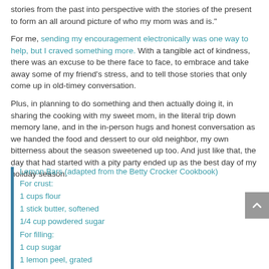stories from the past into perspective with the stories of the present to form an all around picture of who my mom was and is.”
For me, sending my encouragement electronically was one way to help, but I craved something more. With a tangible act of kindness, there was an excuse to be there face to face, to embrace and take away some of my friend’s stress, and to tell those stories that only come up in old-timey conversation.
Plus, in planning to do something and then actually doing it, in sharing the cooking with my sweet mom, in the literal trip down memory lane, and in the in-person hugs and honest conversation as we handed the food and dessert to our old neighbor, my own bitterness about the season sweetened up too. And just like that, the day that had started with a pity party ended up as the best day of my holiday season.
Lemon Bars (adapted from the Betty Crocker Cookbook)
For crust:
1 cups flour
1 stick butter, softened
1/4 cup powdered sugar
For filling:
1 cup sugar
1 lemon peel, grated
1 lemon, squeezed
2 drops lemon essential oil
1/2 teaspoon baking powder